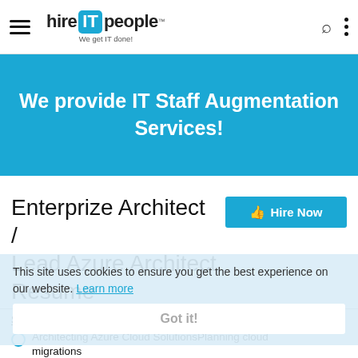hire IT people — We get IT done!
We provide IT Staff Augmentation Services!
Enterprize Architect / Lead Azure Architect Resume
Hire Now
This site uses cookies to ensure you get the best experience on our website. Learn more
Got it!
SUMMARY:
Architecting Azure Cloud SolutionsPlanning cloud migrations